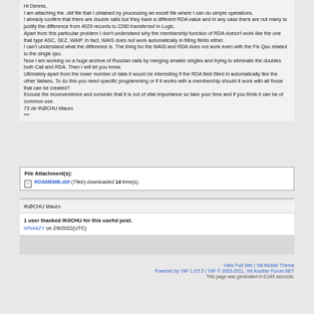Hi Dennis,
I am attaching the .dbf file that I obtained by processing an excell file where I can do simple operations.
I already confirm that there are double calls but they have a different RDA value and in any case there are not many to justify the difference from 4029 records to 2280 transferred in Logic.
Apart from this particular problem I don't understand why the membership function of RDA doesn't work like the one that type ASC, SEZ, WAIP. In fact, WAIS does not work automatically in filling fields either.
I can't understand what the difference is. The thing for the WAIS and RDA does not work even with the Fix Qso related to the single qso.
Now I am working on a huge archive of Russian calls by merging smaller singles and trying to eliminate the doubles both Call and RDA. Then I will let you know.
Ultimately apart from the lower number of data it would be interesting if the RDA field filled in automatically like the other Italians. To do this you need specific programming or if it works with a membership should it work with all those that can be created?
Excuse the inconvenience and consider that it is not of vital importance so take your time and if you think it can be of common use.
73 de IKØCHU Mauro
***
| File Attachment(s): |
| --- |
| RDAMEMB.dbf (79kb) downloaded 14 time(s). |
IKØCHU Mauro
1 user thanked IK0CHU for this useful post.
WN4AZY on 2/9/2022(UTC)
View Full Site | Yaf Mobile Theme
Powered by YAF 1.9.5.5 | YAF © 2003-2011, Yet Another Forum.NET
This page was generated in 0.045 seconds.